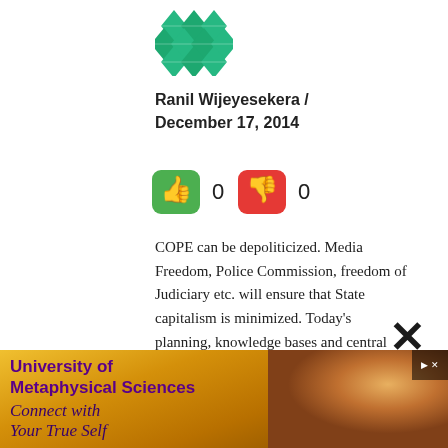[Figure (logo): Green diamond/quilt pattern logo]
Ranil Wijeyesekera / December 17, 2014
[Figure (infographic): Thumbs up (green) vote button showing 0 and thumbs down (red) vote button showing 0]
COPE can be depoliticized. Media Freedom, Police Commission, freedom of Judiciary etc. will ensure that State capitalism is minimized. Today's planning, knowledge bases and central planning using computers. Planned Economy with safe Guards is the same. The Defense sectors should be scaled down. Professional and professional consultants
[Figure (advertisement): University of Metaphysical Sciences advertisement - Connect with Your True Self, with golden toned photo of woman in profile]